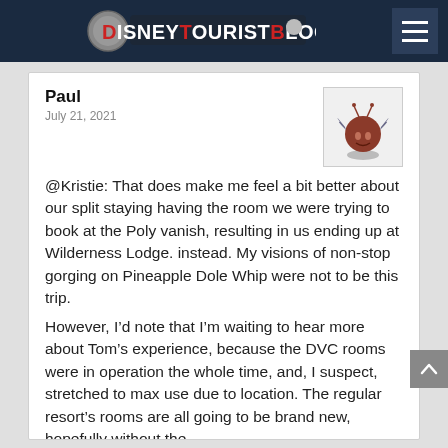DISNEYTOURISTBLOG
Paul
July 21, 2021
[Figure (illustration): Cartoon avatar of a small round red creature with bat wings and antennae, hovering above a shadow]
@Kristie: That does make me feel a bit better about our split staying having the room we were trying to book at the Poly vanish, resulting in us ending up at Wilderness Lodge. instead. My visions of non-stop gorging on Pineapple Dole Whip were not to be this trip.
However, I’d note that I’m waiting to hear more about Tom’s experience, because the DVC rooms were in operation the whole time, and, I suspect, stretched to max use due to location. The regular resort’s rooms are all going to be brand new, hopefully without the problems you had
My curiosity is really up about how far those room renovations went. These are 50-year-old buildings...